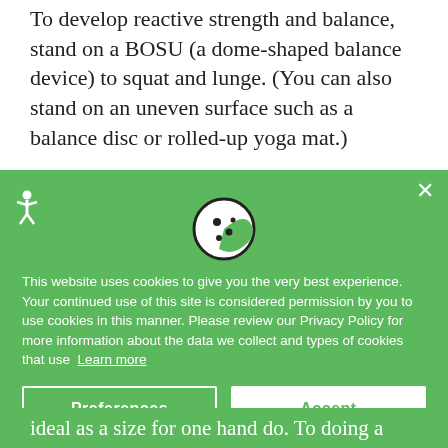To develop reactive strength and balance, stand on a BOSU (a dome-shaped balance device) to squat and lunge. (You can also stand on an uneven surface such as a balance disc or rolled-up yoga mat.)
Doing pushups and planks with a medicine ball (both hands on the ball in the center) works on core strength as well as reactive strength. While an elliptical machine for...
[Figure (screenshot): Cookie consent overlay banner with green background, cookie icon, accessibility icon, close X button, consent text, and two buttons: Preferences and Accept]
This website uses cookies to give you the very best experience. Your continued use of this site is considered permission by you to use cookies in this manner. Please review our Privacy Policy for more information about the data we collect and types of cookies that use  Learn more
...ideal as a size for one hand do. To doing a Pilates...